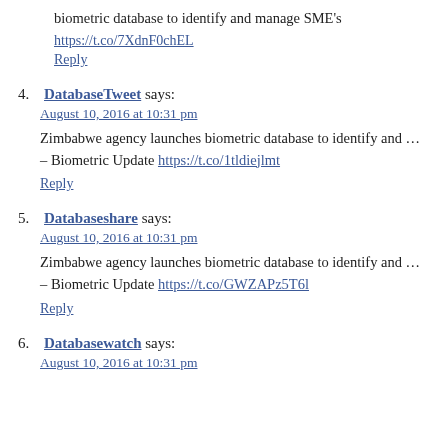biometric database to identify and manage SME's
https://t.co/7XdnF0chEL
Reply
4. DatabaseTweet says:
August 10, 2016 at 10:31 pm

Zimbabwe agency launches biometric database to identify and ... – Biometric Update https://t.co/1tldiejlmt
Reply
5. Databaseshare says:
August 10, 2016 at 10:31 pm

Zimbabwe agency launches biometric database to identify and ... – Biometric Update https://t.co/GWZAPz5T6l
Reply
6. Databasewatch says:
August 10, 2016 at 10:31 pm